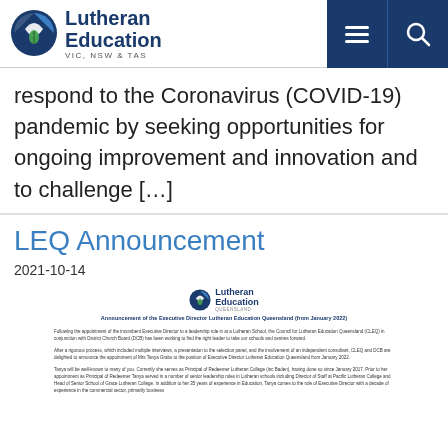Lutheran Education VIC, NSW & TAS
respond to the Coronavirus (COVID-19) pandemic by seeking opportunities for ongoing improvement and innovation and to challenge […]
LEQ Announcement
2021-10-14
[Figure (screenshot): Article preview showing Lutheran Education Queensland logo and announcement text about the appointment of the Executive Director of Lutheran Education Queensland from January 2022.]